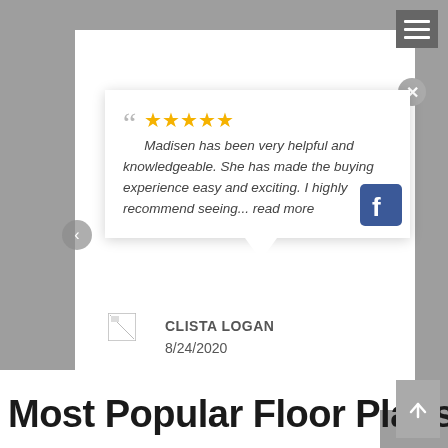[Figure (screenshot): Website screenshot showing a customer review card with 5 gold stars, italic review text from Clista Logan dated 8/24/2020, a Facebook icon, navigation arrows, hamburger menu, close button, and a 'Most Popular Floor Plans' section header at the bottom.]
Madisen has been very helpful and knowledgeable. She has made the buying experience easy and exciting. I highly recommend seeing... read more
CLISTA LOGAN
8/24/2020
Most Popular Floor Plans